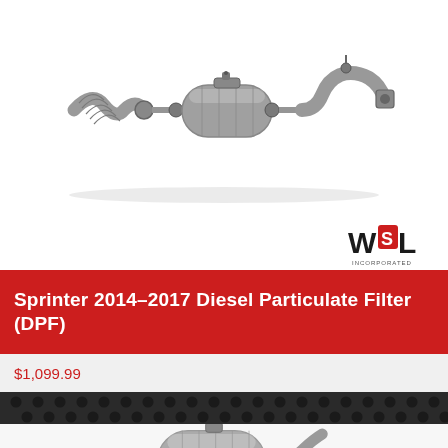[Figure (photo): Photo of a Sprinter 2014-2017 Diesel Particulate Filter (DPF) assembly showing flex pipe, canister, and outlet pipe on white background]
[Figure (logo): WSL Incorporated logo — stylized bold W, S, L letters with red accent and 'INCORPORATED' text below]
Sprinter 2014–2017 Diesel Particulate Filter (DPF)
$1,099.99
[Figure (photo): Dark perforated metal strip / texture background]
[Figure (photo): Partial photo of a Diesel Particulate Filter (DPF) canister component — bottom of page, cropped]